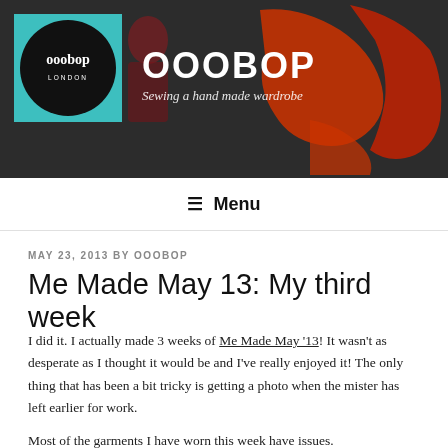[Figure (photo): Blog header banner with dark brick wall background featuring red graffiti. A woman in a red/dark patterned dress stands in the center-left area. A teal square with a black circle logo containing 'ooobop LONDON' text is on the left side.]
OOOBOP
Sewing a hand made wardrobe
≡ Menu
MAY 23, 2013 BY OOOBOP
Me Made May 13: My third week
I did it. I actually made 3 weeks of Me Made May '13! It wasn't as desperate as I thought it would be and I've really enjoyed it! The only thing that has been a bit tricky is getting a photo when the mister has left earlier for work.
Most of the garments I have worn this week have issues.